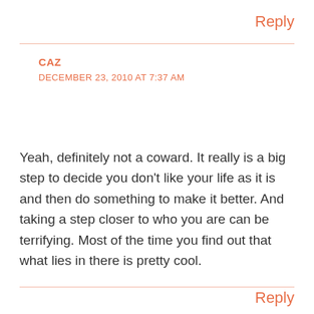Reply
CAZ
DECEMBER 23, 2010 AT 7:37 AM
Yeah, definitely not a coward. It really is a big step to decide you don't like your life as it is and then do something to make it better. And taking a step closer to who you are can be terrifying. Most of the time you find out that what lies in there is pretty cool.
Reply